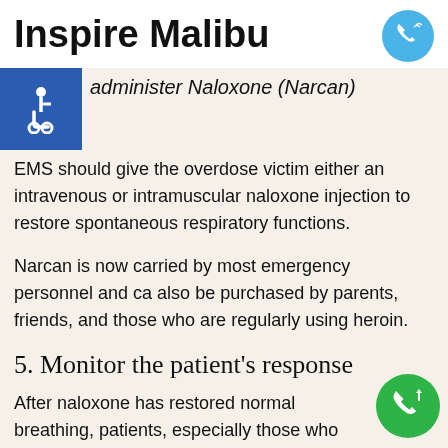Inspire Malibu
administer Naloxone (Narcan)
EMS should give the overdose victim either an intravenous or intramuscular naloxone injection to restore spontaneous respiratory functions.
Narcan is now carried by most emergency personnel and ca also be purchased by parents, friends, and those who are regularly using heroin.
5. Monitor the patient's response
After naloxone has restored normal breathing, patients, especially those who ingested long-acting opioids, must be monitored to ensure that overdose symptoms recur once the naloxone has worn off.